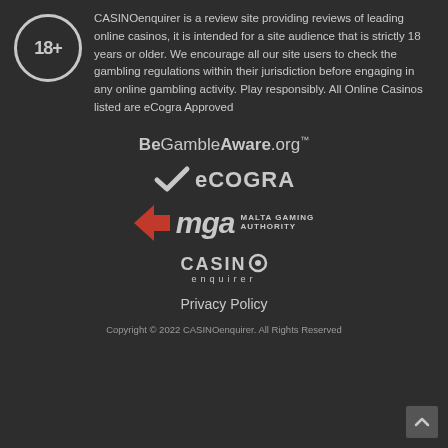[Figure (logo): 18+ age restriction badge — circular badge with '18+' text]
CASINOenquirer is a review site providing reviews of leading online casinos, it is intended for a site audience that is strictly 18 years or older. We encourage all our site users to check the gambling regulations within their jurisdiction before engaging in any online gambling activity. Play responsibly. All Online Casinos listed are eCogra Approved
[Figure (logo): BeGambleAware.org logo]
[Figure (logo): eCOGRA logo with checkmark]
[Figure (logo): MGA Malta Gaming Authority logo]
[Figure (logo): CASINOenquirer logo]
Privacy Policy
Copyright © 2022 CASINOenquirer. All Rights Reserved